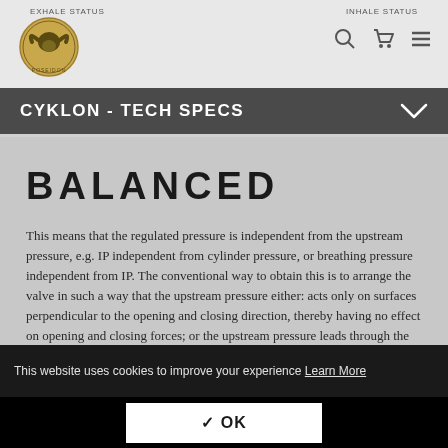EXHALE STATUS   INHALE STATUS
[Figure (logo): Circular logo with ram/animal head design, appears to be a diving equipment brand (Poseidon)]
CYKLON - TECH SPECS
BALANCED
This means that the regulated pressure is independent from the upstream pressure, e.g. IP independent from cylinder pressure, or breathing pressure independent from IP. The conventional way to obtain this is to arrange the valve in such a way that the upstream pressure either: acts only on surfaces perpendicular to the opening and closing direction, thereby having no effect on opening and closing forces; or the upstream pressure leads through the valve to an opposite surface of equal area, leading to
This website uses cookies to improve your experience Learn More
✓ OK